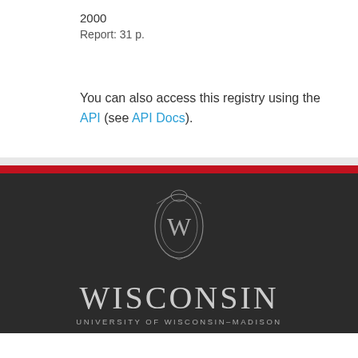2000
Report: 31 p.
You can also access this registry using the API (see API Docs).
[Figure (logo): University of Wisconsin-Madison crest logo with W emblem and text WISCONSIN UNIVERSITY OF WISCONSIN-MADISON on dark background]